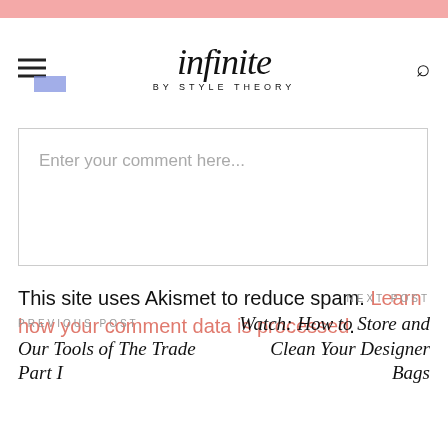infinite BY STYLE THEORY
Enter your comment here...
This site uses Akismet to reduce spam. Learn how your comment data is processed.
PREVIOUS POST
Our Tools of The Trade Part I
NEXT POST
Watch: How to Store and Clean Your Designer Bags